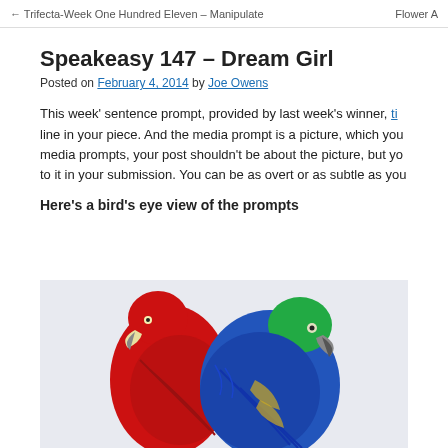← Trifecta-Week One Hundred Eleven – Manipulate    Flower A
Speakeasy 147 – Dream Girl
Posted on February 4, 2014 by Joe Owens
This week' sentence prompt, provided by last week's winner, ti… line in your piece. And the media prompt is a picture, which you… media prompts, your post shouldn't be about the picture, but yo… to it in your submission. You can be as overt or as subtle as you…
Here's a bird's eye view of the prompts
[Figure (photo): Two macaw parrots against a light background: a red macaw on the left and a blue-and-yellow macaw on the right with a green head.]